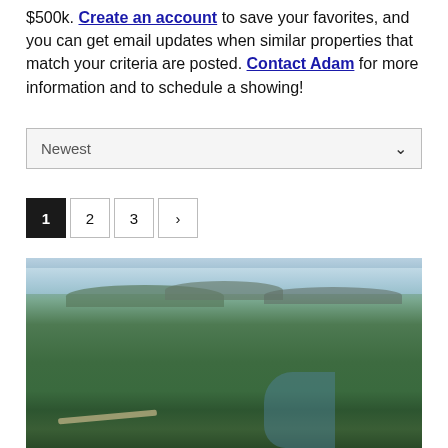$500k. Create an account to save your favorites, and you can get email updates when similar properties that match your criteria are posted. Contact Adam for more information and to schedule a showing!
Newest (dropdown)
Pagination: 1 (active), 2, 3, >
[Figure (photo): Aerial photograph of a densely forested landscape with rolling hills and mountains in the background, a body of water visible at the lower right, and a dirt road at the bottom left. Sky with clouds at the top.]